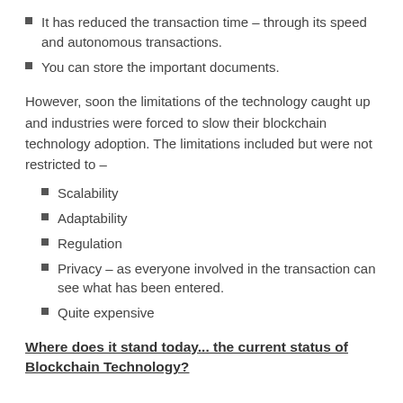It has reduced the transaction time – through its speed and autonomous transactions.
You can store the important documents.
However, soon the limitations of the technology caught up and industries were forced to slow their blockchain technology adoption. The limitations included but were not restricted to –
Scalability
Adaptability
Regulation
Privacy – as everyone involved in the transaction can see what has been entered.
Quite expensive
Where does it stand today... the current status of Blockchain Technology?